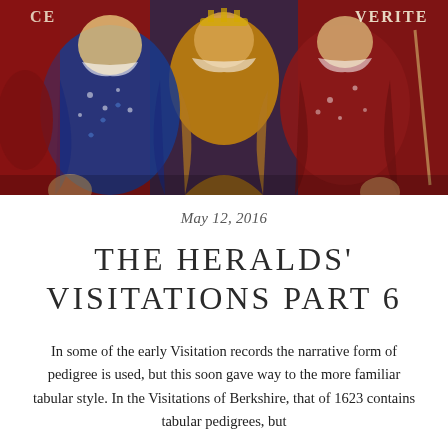[Figure (illustration): Medieval illuminated manuscript image showing robed and crowned figures in red, blue, and gold clothing, with decorative patterning. Text 'VERITE' visible in upper right corner.]
May 12, 2016
THE HERALDS' VISITATIONS PART 6
In some of the early Visitation records the narrative form of pedigree is used, but this soon gave way to the more familiar tabular style. In the Visitations of Berkshire, that of 1623 contains tabular pedigrees, but